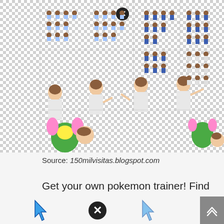[Figure (illustration): A sprite sheet showing multiple Pokemon trainer character sprites in various poses and animations, including small overworld sprites in rows and larger battle/scene sprites at the bottom including a girl with a green Pokemon creature. Checkered transparency background. Has a close/X button icon at top.]
Source: 150milvisitas.blogspot.com
Get your own pokemon trainer! Find best ideas for pokemon custom trainer sprite maker new www.diyfaqs.com.
[Figure (illustration): Bottom partial strip showing pixelated cursor arrow icon and a close/X button icon, partially cut off at page bottom.]